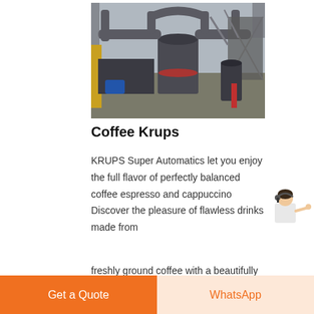[Figure (photo): Industrial machinery/mill plant with large pipes, ducts, and heavy equipment in an outdoor industrial facility]
Coffee Krups
KRUPS Super Automatics let you enjoy the full flavor of perfectly balanced coffee espresso and cappuccino Discover the pleasure of flawless drinks made from freshly ground coffee with a beautifully
[Figure (illustration): Customer service representative figure with Free chat button]
Get a Quote
WhatsApp